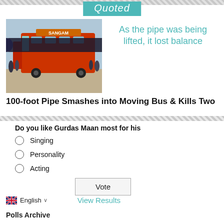Quoted
[Figure (photo): Photo of a red bus labeled SANGAM with a large pipe resting against/through it, crowd in background]
As the pipe was being lifted, it lost balance
100-foot Pipe Smashes into Moving Bus & Kills Two
Do you like Gurdas Maan most for his
Singing
Personality
Acting
Vote
English  ∨    View Results
Polls Archive